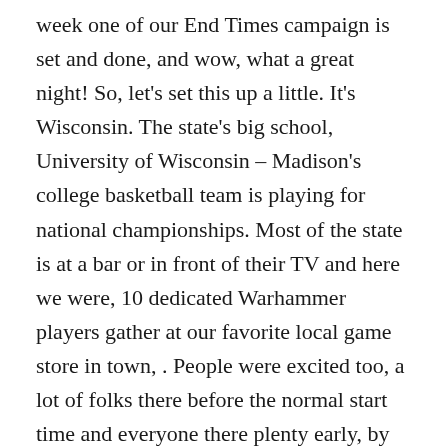week one of our End Times campaign is set and done, and wow, what a great night! So, let’s set this up a little. It’s Wisconsin. The state’s big school, University of Wisconsin – Madison’s college basketball team is playing for national championships. Most of the state is at a bar or in front of their TV and here we were, 10 dedicated Warhammer players gather at our favorite local game store in town, . People were excited too, a lot of folks there before the normal start time and everyone there plenty early, by quarter after 6.
So, teams were made of 5 players each and after some waiting for order to select their supreme commander we went into the choosing opponents. Wanting to lock in a sure win (well maybe not so sure, but…) I choose to have our skaven player (Trevor) match up against